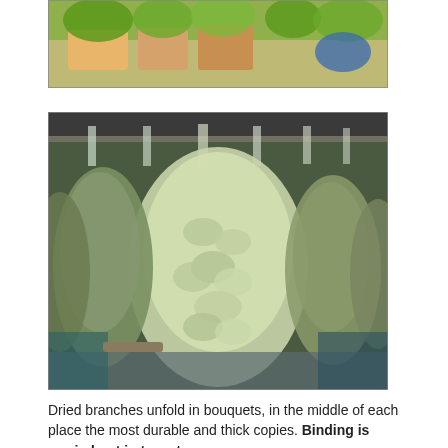[Figure (photo): Partial photo of potted green plants hanging and displayed on shelves with warm wooden background]
[Figure (photo): Photo of multiple bunches of dried herb branches hanging upside down from a rod, with large pale green dried leaf bouquets in the center and darker bunches on the sides]
Dried branches unfold in bouquets, in the middle of each place the most durable and thick copies. Binding is carried out in two stages: